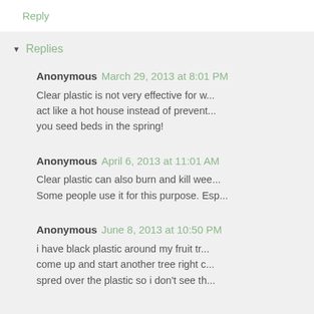Reply
Replies
Anonymous March 29, 2013 at 8:01 PM
Clear plastic is not very effective for w... act like a hot house instead of prevent... you seed beds in the spring!
Anonymous April 6, 2013 at 11:01 AM
Clear plastic can also burn and kill wee... Some people use it for this purpose. Esp...
Anonymous June 8, 2013 at 10:50 PM
i have black plastic around my fruit tr... come up and start another tree right c... spred over the plastic so i don't see th...